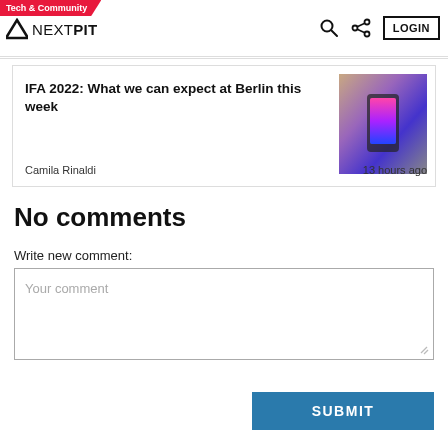Tech & Community | NEXTPIT | LOGIN
[Figure (screenshot): Article card with thumbnail image of person holding phone with colorful screen, showing article title and metadata]
IFA 2022: What we can expect at Berlin this week
Camila Rinaldi    13 hours ago
No comments
Write new comment:
Your comment
SUBMIT